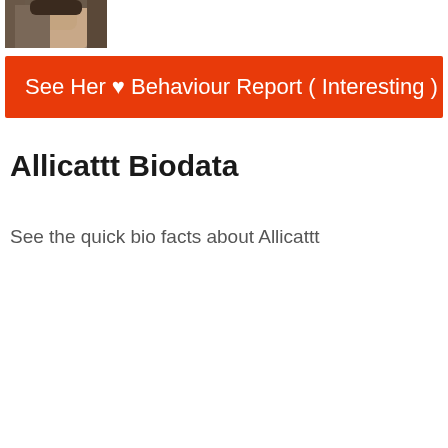[Figure (photo): Partial photo of a person with dark hair, cropped at top of page]
See Her ♥ Behaviour Report ( Interesting )
Allicattt Biodata
See the quick bio facts about Allicattt